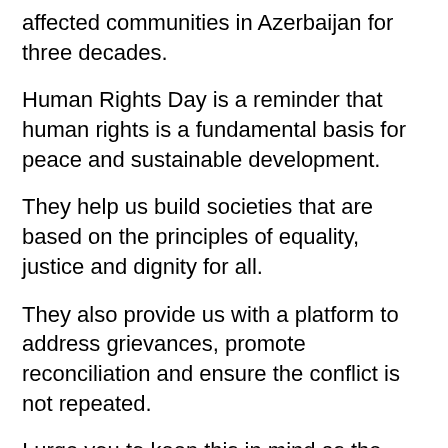affected communities in Azerbaijan for three decades.
Human Rights Day is a reminder that human rights is a fundamental basis for peace and sustainable development.
They help us build societies that are based on the principles of equality, justice and dignity for all.
They also provide us with a platform to address grievances, promote reconciliation and ensure the conflict is not repeated.
I urge you to keep this in mind as the country moves into the recovery and reconstruction phase.
This year has also been exceptional for people in